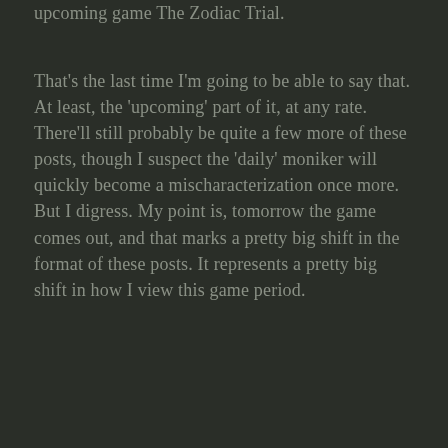upcoming game The Zodiac Trial.
That's the last time I'm going to be able to say that. At least, the 'upcoming' part of it, at any rate. There'll still probably be quite a few more of these posts, though I suspect the 'daily' moniker will quickly become a mischaracterization once more. But I digress. My point is, tomorrow the game comes out, and that marks a pretty big shift in the format of these posts. It represents a pretty big shift in how I view this game period.